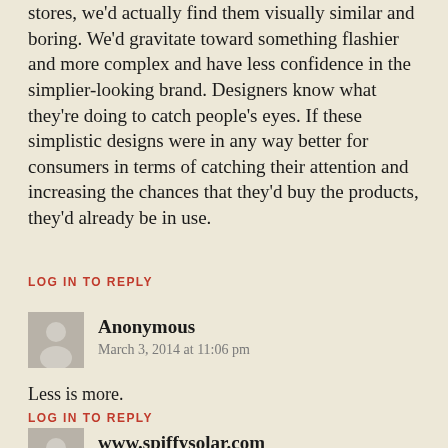stores, we'd actually find them visually similar and boring. We'd gravitate toward something flashier and more complex and have less confidence in the simplier-looking brand. Designers know what they're doing to catch people's eyes. If these simplistic designs were in any way better for consumers in terms of catching their attention and increasing the chances that they'd buy the products, they'd already be in use.
LOG IN TO REPLY
Anonymous
March 3, 2014 at 11:06 pm
Less is more.
LOG IN TO REPLY
www.spiffysolar.com
March 4, 2014 at 11:22 am